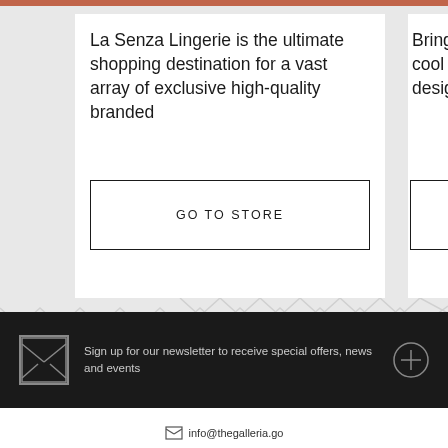La Senza Lingerie is the ultimate shopping destination for a vast array of exclusive high-quality branded
GO TO STORE
Bringi cool d desig
Sign up for our newsletter to receive special offers, news and events
info@thegalleria.go